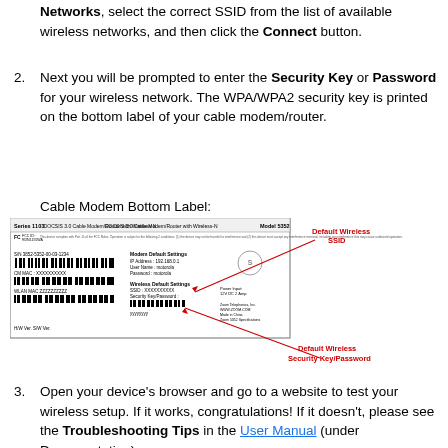Networks, select the correct SSID from the list of available wireless networks, and then click the Connect button.
2. Next you will be prompted to enter the Security Key or Password for your wireless network. The WPA/WPA2 security key is printed on the bottom label of your cable modem/router.
Cable Modem Bottom Label:
[Figure (illustration): Cable modem bottom label showing Series 1103, DOCSIS 3.0 Cable Modem/Router with Wireless-N, Model 5352. Shows S/N, CM MAC, WLAN MAC barcodes, Modem Default Settings (IP Address: 192.168.0.1, User Name: motorola, Password: motorola), Wireless Default Settings (SSID: XXXXXXXXXX, Security Key/Password: YYYYYYYY). Annotated with red arrows pointing to 'Default Wireless SSID' and 'Default Wireless Security Key/Password'.]
3. Open your device's browser and go to a website to test your wireless setup. If it works, congratulations! If it doesn't, please see the Troubleshooting Tips in the User Manual (under Documentation).